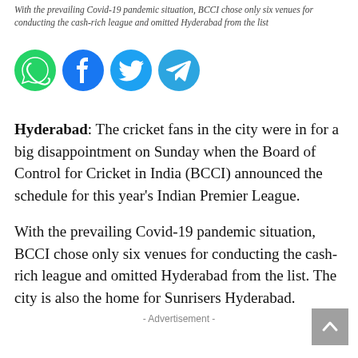With the prevailing Covid-19 pandemic situation, BCCI chose only six venues for conducting the cash-rich league and omitted Hyderabad from the list
[Figure (other): Social media share icons: WhatsApp (green), Facebook (dark blue), Twitter (light blue), Telegram (blue)]
Hyderabad: The cricket fans in the city were in for a big disappointment on Sunday when the Board of Control for Cricket in India (BCCI) announced the schedule for this year's Indian Premier League.
With the prevailing Covid-19 pandemic situation, BCCI chose only six venues for conducting the cash-rich league and omitted Hyderabad from the list. The city is also the home for Sunrisers Hyderabad.
- Advertisement -